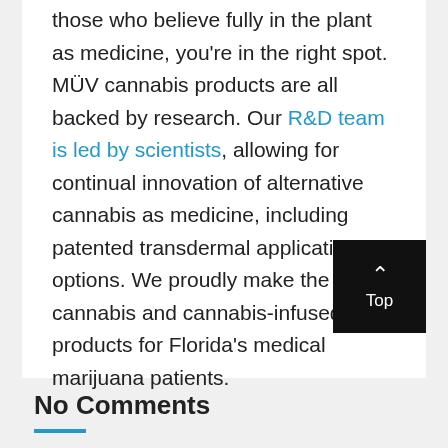those who believe fully in the plant as medicine, you're in the right spot. MÜV cannabis products are all backed by research. Our R&D team is led by scientists, allowing for continual innovation of alternative cannabis as medicine, including patented transdermal application options. We proudly make the best cannabis and cannabis-infused products for Florida's medical marijuana patients.
No Comments